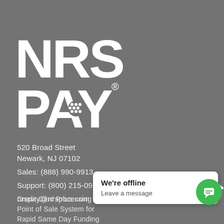[Figure (logo): NRS PAY logo in white on gray background, large bold letters with a dotted circle in the A of PAY, and a registered trademark symbol]
520 Broad Street
Newark, NJ 07102
Sales: (888) 990-9913
Support: (800) 215-0931
nrspay@nrsplus.com
Credit Card Processing F...
Point of Sale System for ...
Rapid Same Day Funding
[Figure (screenshot): Chat widget popup showing 'We're offline' title and 'Leave a message' subtitle on white background with green chat bubble icon on right]